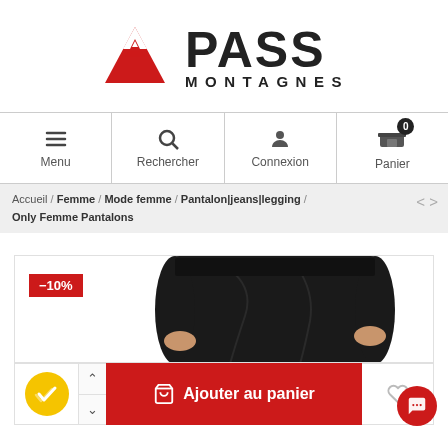[Figure (logo): Pass Montagnes logo with red mountain peak icon and bold dark text reading PASS MONTAGNES]
Menu | Rechercher | Connexion | Panier
Accueil / Femme / Mode femme / Pantalon|jeans|legging / Only Femme Pantalons
[Figure (photo): Product photo showing a person wearing a black garment, with a red discount badge showing -10%]
Ajouter au panier